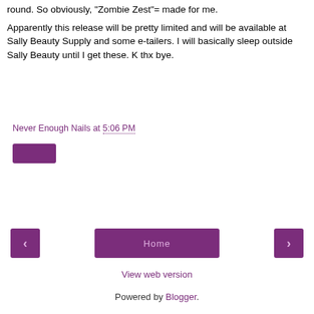round. So obviously, "Zombie Zest"= made for me.
Apparently this release will be pretty limited and will be available at Sally Beauty Supply and some e-tailers. I will basically sleep outside Sally Beauty until I get these. K thx bye.
Never Enough Nails at 5:06 PM
[Figure (other): Small purple button (likely a label/tag button)]
[Figure (other): Navigation bar with three purple buttons: left arrow, Home, right arrow]
View web version
Powered by Blogger.